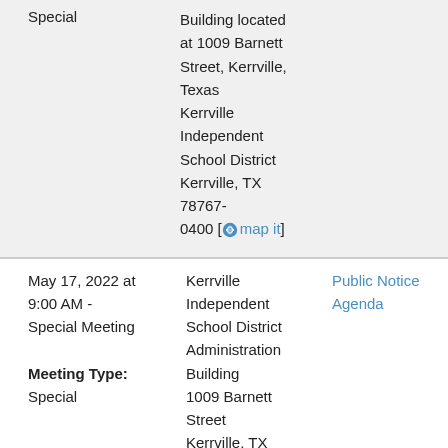Special
Building located at 1009 Barnett Street, Kerrville, Texas Kerrville Independent School District Kerrville, TX 78767-0400 [map it]
May 17, 2022 at 9:00 AM - Special Meeting
Meeting Type: Special
Kerrville Independent School District Administration Building 1009 Barnett Street Kerrville, TX
Public Notice Agenda